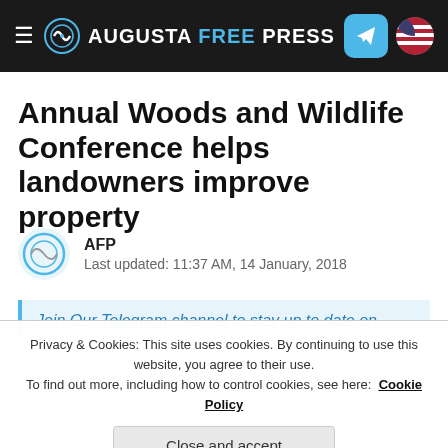Augusta Free Press
Annual Woods and Wildlife Conference helps landowners improve property
AFP
Last updated: 11:37 AM, 14 January, 2018
Join Our Telegram channel to stay up to date on b...
Privacy & Cookies: This site uses cookies. By continuing to use this website, you agree to their use.
To find out more, including how to control cookies, see here: Cookie Policy
Close and accept
[Figure (logo): Virginia logo watermark in background]